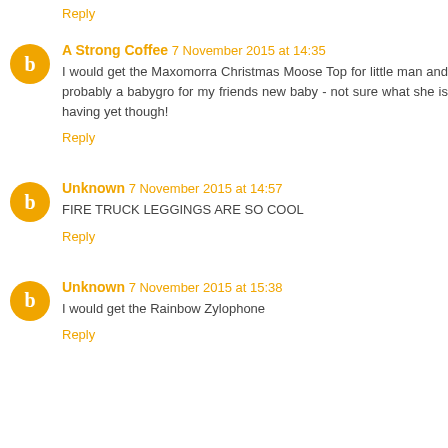Reply
A Strong Coffee  7 November 2015 at 14:35
I would get the Maxomorra Christmas Moose Top for little man and probably a babygro for my friends new baby - not sure what she is having yet though!
Reply
Unknown  7 November 2015 at 14:57
FIRE TRUCK LEGGINGS ARE SO COOL
Reply
Unknown  7 November 2015 at 15:38
I would get the Rainbow Zylophone
Reply